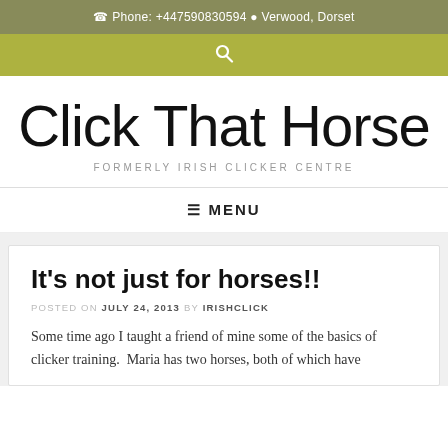Phone: +447590830594   Verwood, Dorset
Click That Horse
FORMERLY IRISH CLICKER CENTRE
≡ MENU
It's not just for horses!!
POSTED ON JULY 24, 2013 BY IRISHCLICK
Some time ago I taught a friend of mine some of the basics of clicker training.  Maria has two horses, both of which have